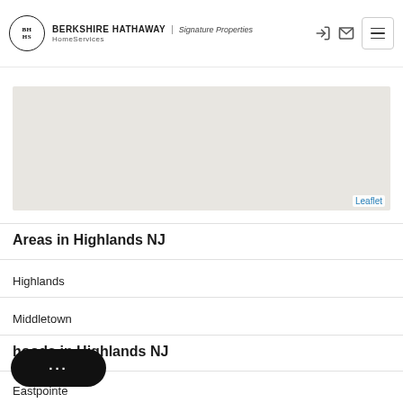BERKSHIRE HATHAWAY HomeServices | Signature Properties
[Figure (map): Gray map area with Leaflet attribution link]
Areas in Highlands NJ
Highlands
Middletown
Neighborhoods in Highlands NJ
Eastpointe